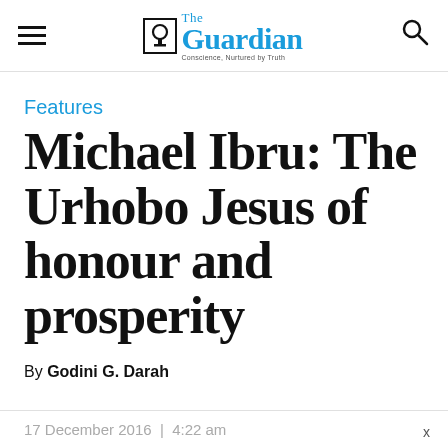The Guardian — Conscience, Nurtured by Truth
Features
Michael Ibru: The Urhobo Jesus of honour and prosperity
By Godini G. Darah
17 December 2016 | 4:22 am